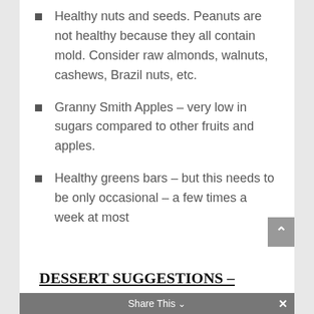Healthy nuts and seeds. Peanuts are not healthy because they all contain mold. Consider raw almonds, walnuts, cashews, Brazil nuts, etc.
Granny Smith Apples – very low in sugars compared to other fruits and apples.
Healthy greens bars – but this needs to be only occasional – a few times a week at most
DESSERT SUGGESTIONS – ONCE OR TWICE A WEEK AT